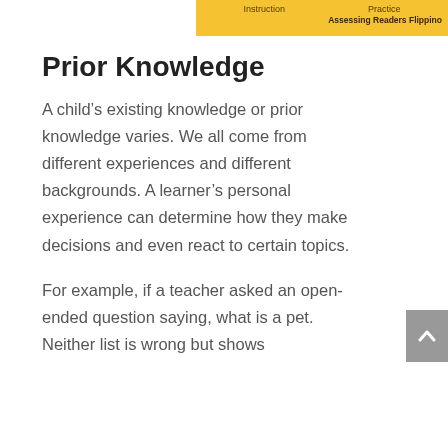Instruction  Practice  Assessing Readers Flippino
Prior Knowledge
A child's existing knowledge or prior knowledge varies. We all come from different experiences and different backgrounds. A learner's personal experience can determine how they make decisions and even react to certain topics.
For example, if a teacher asked an open-ended question saying, what is a pet. Neither list is wrong but shows that students have knowledge of...